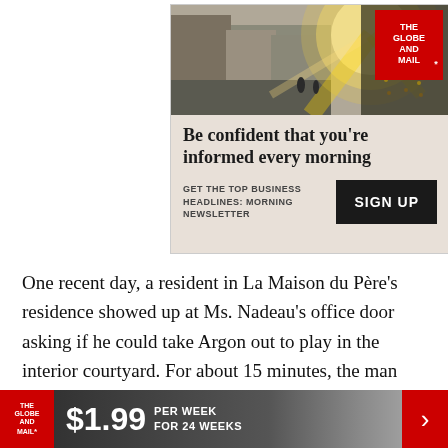[Figure (infographic): Globe and Mail advertisement banner showing a street photo with sunlight flare, The Globe and Mail logo in red, headline 'Be confident that you're informed every morning', subtext 'GET THE TOP BUSINESS HEADLINES: MORNING NEWSLETTER', and a black SIGN UP button]
One recent day, a resident in La Maison du Père's residence showed up at Ms. Nadeau's office door asking if he could take Argon out to play in the interior courtyard. For about 15 minutes, the man
[Figure (infographic): Globe and Mail subscription bar at bottom: red logo on left, large white price '$1.99', 'PER WEEK FOR 24 WEEKS' text, red arrow chevron on right]